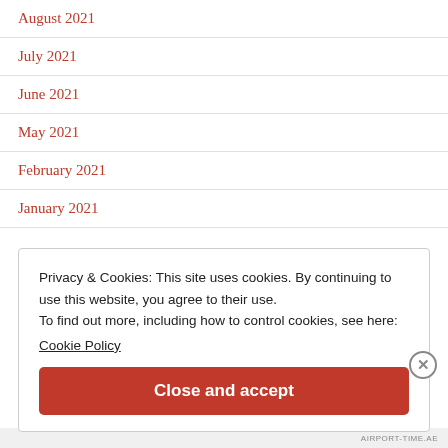August 2021
July 2021
June 2021
May 2021
February 2021
January 2021
Privacy & Cookies: This site uses cookies. By continuing to use this website, you agree to their use.
To find out more, including how to control cookies, see here:
Cookie Policy
Close and accept
AIRPORT-TIME.AE